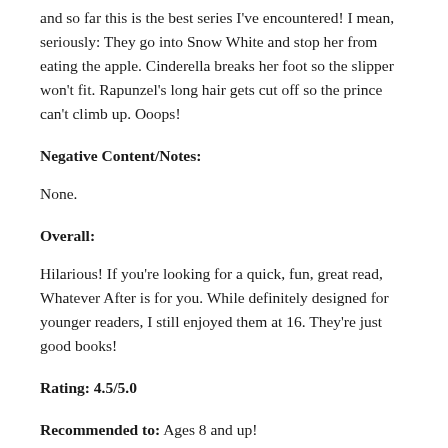and so far this is the best series I've encountered! I mean, seriously: They go into Snow White and stop her from eating the apple. Cinderella breaks her foot so the slipper won't fit. Rapunzel's long hair gets cut off so the prince can't climb up. Ooops!
Negative Content/Notes:
None.
Overall:
Hilarious! If you're looking for a quick, fun, great read, Whatever After is for you. While definitely designed for younger readers, I still enjoyed them at 16. They're just good books!
Rating: 4.5/5.0
Recommended to: Ages 8 and up!